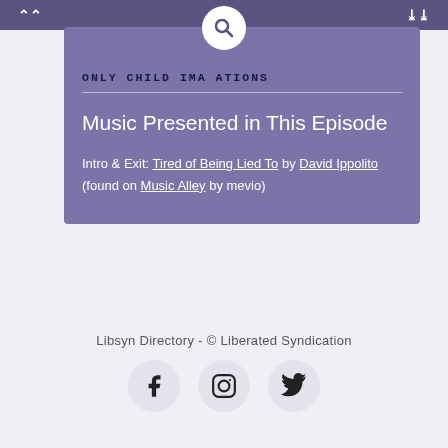ONLY CHILD IMAGINATIONS
Music Presented in This Episode
Intro & Exit: Tired of Being Lied To by David Ippolito (found on Music Alley by mevio)
Libsyn Directory - © Liberated Syndication